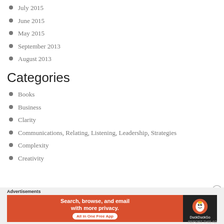July 2015
June 2015
May 2015
September 2013
August 2013
Categories
Books
Business
Clarity
Communications, Relating, Listening, Leadership, Strategies
Complexity
Creativity
[Figure (infographic): DuckDuckGo advertisement banner: Search, browse, and email with more privacy. All in One Free App. Orange background with DuckDuckGo logo on dark right panel.]